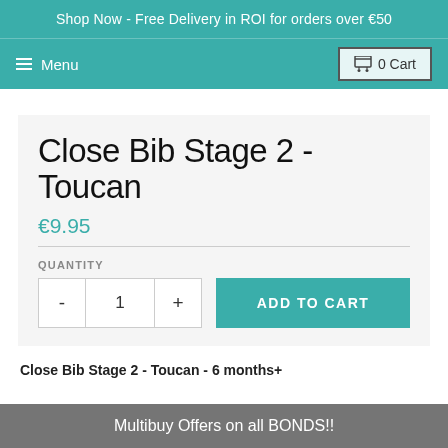Shop Now - Free Delivery in ROI for orders over €50
≡ Menu
🛒 0 Cart
Close Bib Stage 2 - Toucan
€9.95
QUANTITY
ADD TO CART
Close Bib Stage 2 - Toucan - 6 months+
Multibuy Offers on all BONDS!!